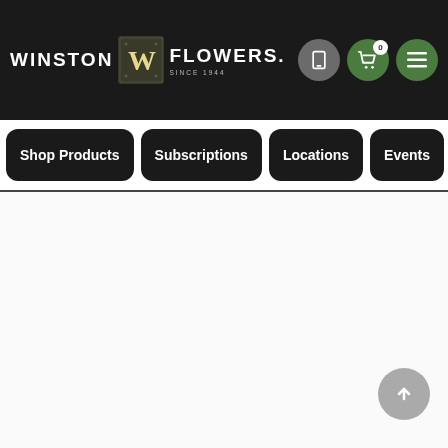[Figure (screenshot): Winston Flowers website header with logo, phone icon, cart icon (0 items), and hamburger menu icon]
WINSTON W FLOWERS. SINCE 1944
Shop Products
Subscriptions
Locations
Events
Ho...